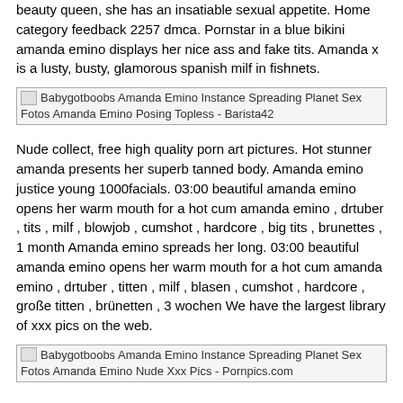beauty queen, she has an insatiable sexual appetite. Home category feedback 2257 dmca. Pornstar in a blue bikini amanda emino displays her nice ass and fake tits. Amanda x is a lusty, busty, glamorous spanish milf in fishnets.
[Figure (other): Broken image placeholder with alt text: Babygotboobs Amanda Emino Instance Spreading Planet Sex Fotos Amanda Emino Posing Topless - Barista42]
Nude collect, free high quality porn art pictures. Hot stunner amanda presents her superb tanned body. Amanda emino justice young 1000facials. 03:00 beautiful amanda emino opens her warm mouth for a hot cum amanda emino , drtuber , tits , milf , blowjob , cumshot , hardcore , big tits , brunettes , 1 month Amanda emino spreads her long. 03:00 beautiful amanda emino opens her warm mouth for a hot cum amanda emino , drtuber , titten , milf , blasen , cumshot , hardcore , große titten , brünetten , 3 wochen We have the largest library of xxx pics on the web.
[Figure (other): Broken image placeholder with alt text: Babygotboobs Amanda Emino Instance Spreading Planet Sex Fotos Amanda Emino Nude Xxx Pics - Pornpics.com]